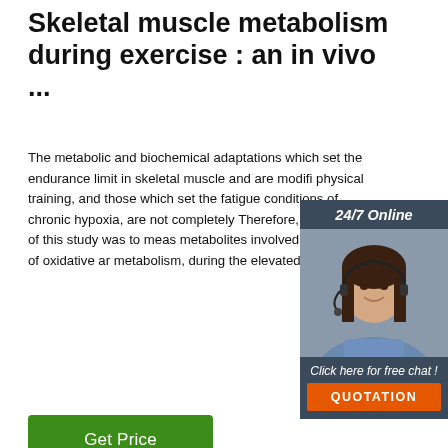Skeletal muscle metabolism during exercise : an in vivo ...
The metabolic and biochemical adaptations which set the endurance limit in skeletal muscle and are modified by physical training, and those which set the fatigue conditions of chronic hypoxia, are not completely Therefore, the purpose of this study was to meas metabolites involved in the control of oxidative ar metabolism, during the elevated ...
[Figure (screenshot): Green 'Get Price' button]
[Figure (photo): 24/7 Online chat widget with a woman wearing a headset, and a 'Click here for free chat!' message with an orange QUOTATION button]
[Figure (photo): Dark background microscopy or scientific image showing a rounded pale object, with an orange 'TOP' logo in the lower right]